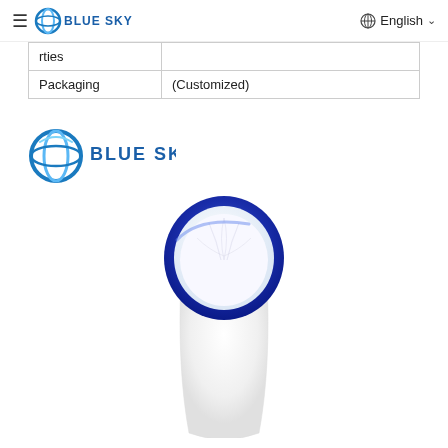≡ BLUE SKY    🌐 English ∨
| rties |  |
| Packaging | (Customized) |
[Figure (logo): Blue Sky logo with circular blue icon and BLUE SKY text in blue]
[Figure (photo): White filter bag with blue ring collar at the top, shown from above/angle view on white background]